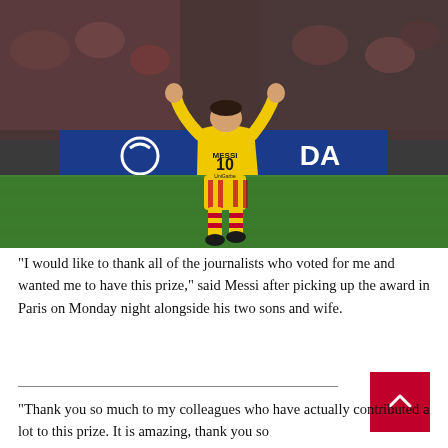[Figure (photo): A football player wearing a yellow Barcelona away kit with number 10 (Messi) on the back, arms raised in celebration on a football pitch. Stadium crowd visible in background. Sponsor boards showing partial text 'DA' visible at pitch-side.]
“I would like to thank all of the journalists who voted for me and wanted me to have this prize,” said Messi after picking up the award in Paris on Monday night alongside his two sons and wife.
“Thank you so much to my colleagues who have actually contributed a lot to this prize. It is amazing, thank you so